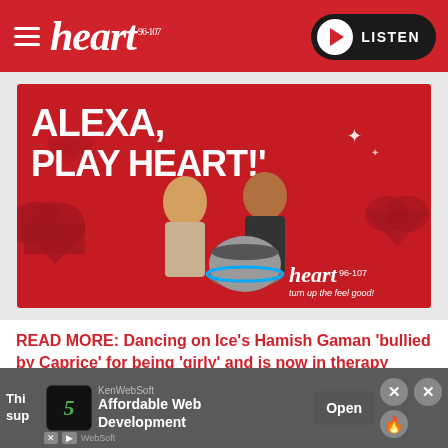heart 96-107 | LISTEN
[Figure (photo): Heart Radio promotional image showing two presenters (a woman and a man) in front of a red background with heart shapes, an Amazon Echo Dot device, and text reading 'ALEXA, PLAY HEART!' with the Heart 96-107 'turn up the feel good' logo.]
READ MORE: Dancing on Ice's Hamish Gaman 'bullied by Caprice' for being 'girly' and is now in therapy
[Figure (other): Advertisement banner: KenWebSoft - Affordable Web Development - Open button with close (x) buttons]